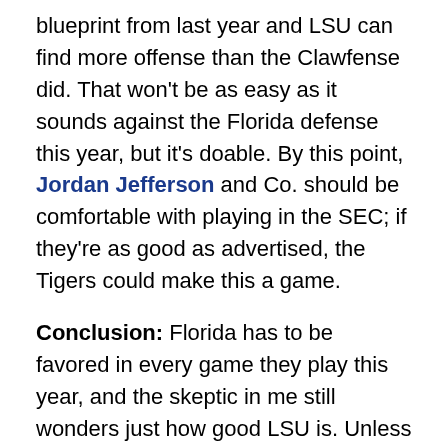blueprint from last year and LSU can find more offense than the Clawfense did. That won't be as easy as it sounds against the Florida defense this year, but it's doable. By this point, Jordan Jefferson and Co. should be comfortable with playing in the SEC; if they're as good as advertised, the Tigers could make this a game.
Conclusion: Florida has to be favored in every game they play this year, and the skeptic in me still wonders just how good LSU is. Unless LSU is national championship-caliber this year, the best they can hope for is to keep things interesting. Florida wins a close one.
--
PREVIOUS INSTALLMENTS